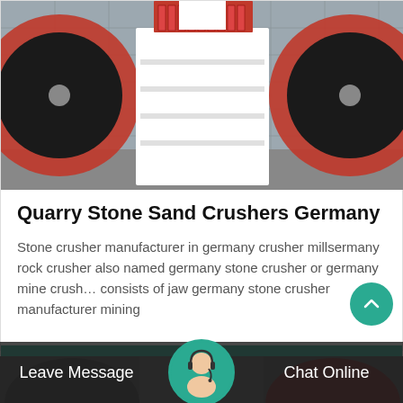[Figure (photo): Photo of quarry stone crusher machine with red flywheel and white painted body on a factory floor]
Quarry Stone Sand Crushers Germany
Stone crusher manufacturer in germany crusher millsermany rock crusher also named germany stone crusher or germany mine crush… consists of jaw germany stone crusher manufacturer mining
[Figure (other): GET PRICE teal button]
[Figure (photo): Industrial machinery background photo partially visible at bottom]
Leave Message   Chat Online